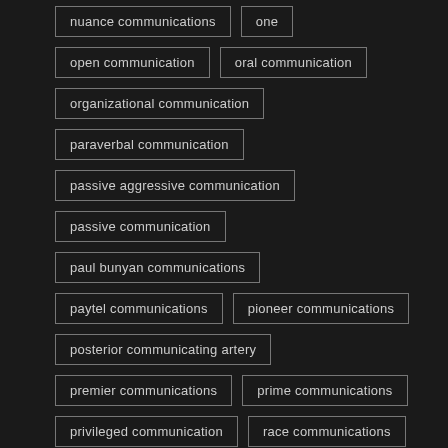nuance communications
one
open communication
oral communication
organizational communication
paraverbal communication
passive aggressive communication
passive communication
paul bunyan communications
paytel communications
pioneer communications
posterior communicating artery
premier communications
prime communications
privileged communication
race communications